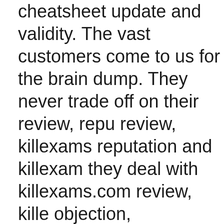cheatsheet update and validity. The vast customers come to us for the brain dumps. They never trade off on their review, reputation review, killexams reputation and killexams they deal with killexams.com review, killexams objection, killexams.com trust, killexams.com scam. On the off chance that you see any killexams sham report grievance web, killexams.com protest or something like that individuals harming reputation of good are a huge number of fulfilled clients that dumps, killexams PDF questions, killexams Killexams.com, their specimen questions